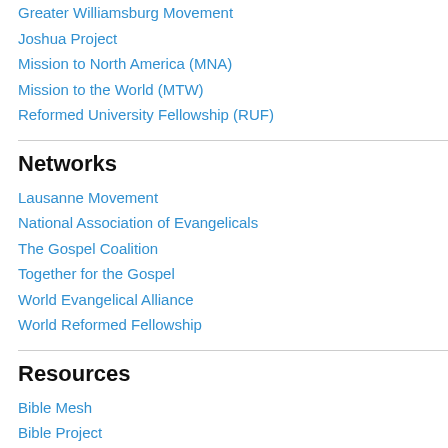Greater Williamsburg Movement
Joshua Project
Mission to North America (MNA)
Mission to the World (MTW)
Reformed University Fellowship (RUF)
Networks
Lausanne Movement
National Association of Evangelicals
The Gospel Coalition
Together for the Gospel
World Evangelical Alliance
World Reformed Fellowship
Resources
Bible Mesh
Bible Project